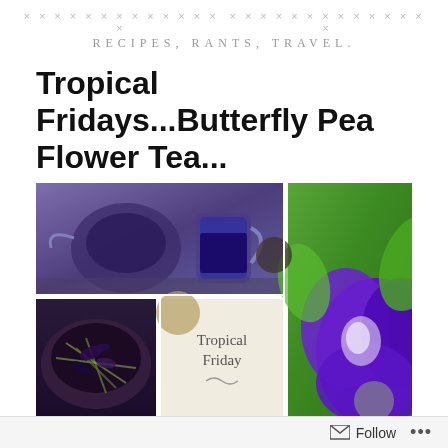× × × × × × × × × × × × × ×    × × × × × × × × × × × × × ×
Recipes, Rants, Travel.
Tropical Fridays...Butterfly Pea Flower Tea...
[Figure (photo): A collage of four images: top-left shows a glass teapot and mug filled with deep blue butterfly pea flower tea; top-right (tall) shows a large vivid purple butterfly pea flower against green leaves; bottom-left shows dried butterfly pea flowers in a bowl; bottom-center is a beige card with text 'Tropical Friday' and a decorative swirl; bottom portion shows more butterfly pea flowers. Decorative dots overlay the collage.]
Follow